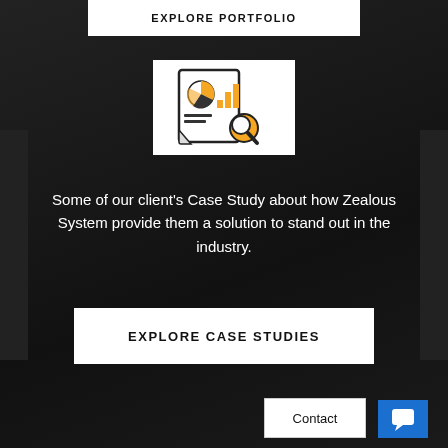EXPLORE PORTFOLIO
[Figure (illustration): White box containing a report/analytics icon with a pie chart, bar chart, and magnifying glass in orange and black]
Some of our client's Case Study about how Zealous System provide them a solution to stand out in the industry.
EXPLORE CASE STUDIES
Contact
[Figure (illustration): Blue chat/comment icon button]